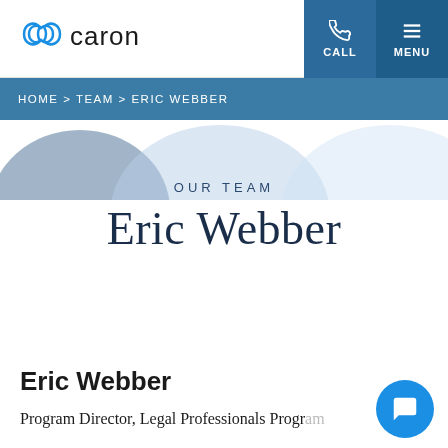[Figure (logo): Caron logo with infinity-style double loop icon and wordmark 'caron']
CALL | MENU
HOME > TEAM > ERIC WEBBER
[Figure (illustration): Decorative overlapping pastel circle shapes in blue/grey tones]
OUR TEAM
Eric Webber
Eric Webber
Program Director, Legal Professionals Program